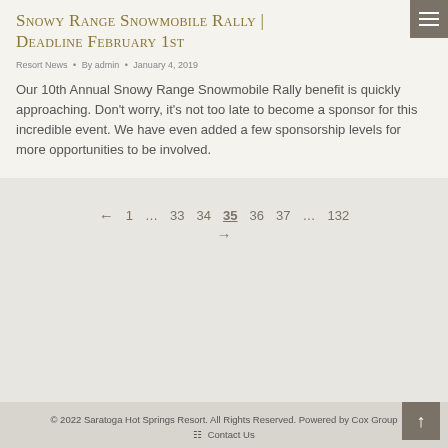Snowy Range Snowmobile Rally | Deadline February 1st
Resort News • By admin • January 4, 2019
Our 10th Annual Snowy Range Snowmobile Rally benefit is quickly approaching. Don't worry, it's not too late to become a sponsor for this incredible event. We have even added a few sponsorship levels for more opportunities to be involved.
← 1 … 33 34 35 → 36 37 … 132
© 2022 Saratoga Hot Springs Resort. All Rights Reserved. Powered by Cox Group
Contact Us